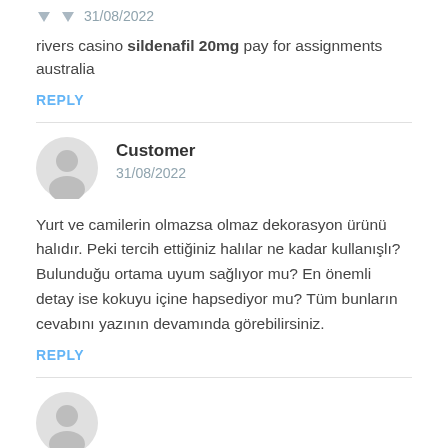31/08/2022
rivers casino sildenafil 20mg pay for assignments australia
REPLY
Customer
31/08/2022
Yurt ve camilerin olmazsa olmaz dekorasyon ürünü halıdır. Peki tercih ettiğiniz halılar ne kadar kullanışlı? Bulunduğu ortama uyum sağlıyor mu? En önemli detay ise kokuyu içine hapsediyor mu? Tüm bunların cevabını yazının devamında görebilirsiniz.
REPLY